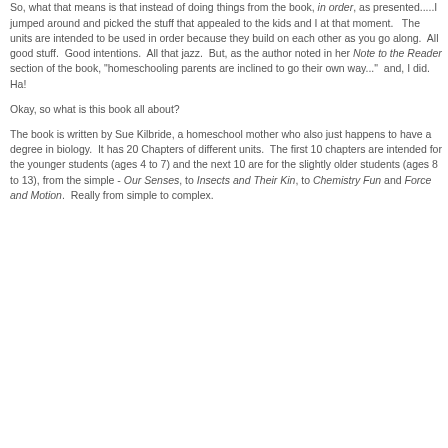I will also admit right up front here that I didn't use this as intended this summer. But, I am planning to use it as it was intended for this school year.
So, what that means is that instead of doing things from the book, in order, as presented.....I jumped around and picked the stuff that appealed to the kids and I at that moment. The units are intended to be used in order because they build on each other as you go along. All good stuff. Good intentions. All that jazz. But, as the author noted in her Note to the Reader section of the book, "homeschooling parents are inclined to go their own way..." and, I did. Ha!
Okay, so what is this book all about?
The book is written by Sue Kilbride, a homeschool mother who also just happens to have a degree in biology. It has 20 Chapters of different units. The first 10 chapters are intended for the younger students (ages 4 to 7) and the next 10 are for the slightly older students (ages 8 to 13), from the simple - Our Senses, to Insects and Their Kin, to Chemistry Fun and Force and Motion. Really from simple to complex.